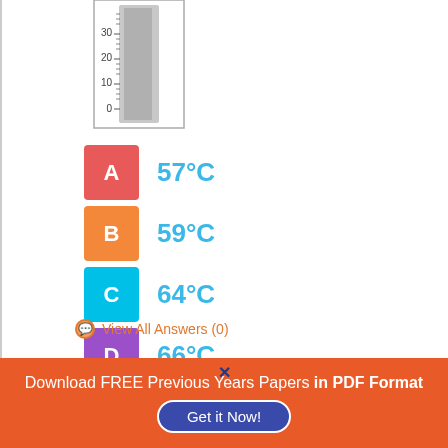[Figure (other): A thermometer/ruler image showing scale from 0 to 30+ with markings at 10, 20, 30]
A  57°C
B  59°C
C  64°C
D  66°C
View All Answers (0)
Download FREE Previous Years Papers in PDF Format
Get it Now!